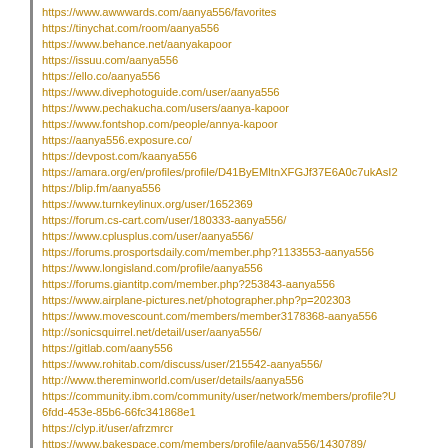https://www.awwwards.com/aanya556/favorites
https://tinychat.com/room/aanya556
https://www.behance.net/aanyakapoor
https://issuu.com/aanya556
https://ello.co/aanya556
https://www.divephotoguide.com/user/aanya556
https://www.pechakucha.com/users/aanya-kapoor
https://www.fontshop.com/people/annya-kapoor
https://aanya556.exposure.co/
https://devpost.com/kaanya556
https://amara.org/en/profiles/profile/D41ByEMltnXFGJf37E6A0c7ukAsI2
https://blip.fm/aanya556
https://www.turnkeylinux.org/user/1652369
https://forum.cs-cart.com/user/180333-aanya556/
https://www.cplusplus.com/user/aanya556/
https://forums.prosportsdaily.com/member.php?1133553-aanya556
https://www.longisland.com/profile/aanya556
https://forums.giantitp.com/member.php?253843-aanya556
https://www.airplane-pictures.net/photographer.php?p=202303
https://www.movescount.com/members/member3178368-aanya556
http://sonicsquirrel.net/detail/user/aanya556/
https://gitlab.com/aany556
https://www.rohitab.com/discuss/user/215542-aanya556/
http://www.thereminworld.com/user/details/aanya556
https://community.ibm.com/community/user/network/members/profile?U
6fdd-453e-85b6-66fc341868e1
https://clyp.it/user/afrzmrcr
https://www.bakespace.com/members/profile/aanya556/1430789/